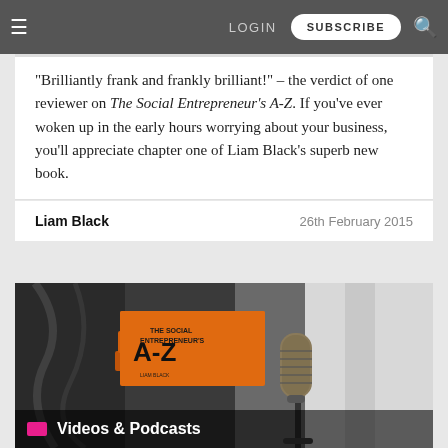LOGIN  SUBSCRIBE
“Brilliantly frank and frankly brilliant!” – the verdict of one reviewer on The Social Entrepreneur’s A-Z. If you’ve ever woken up in the early hours worrying about your business, you’ll appreciate chapter one of Liam Black’s superb new book.
Liam Black   26th February 2015
[Figure (photo): Photo of The Social Entrepreneur's A-Z orange book next to a studio microphone, with a Videos & Podcasts label overlay at the bottom]